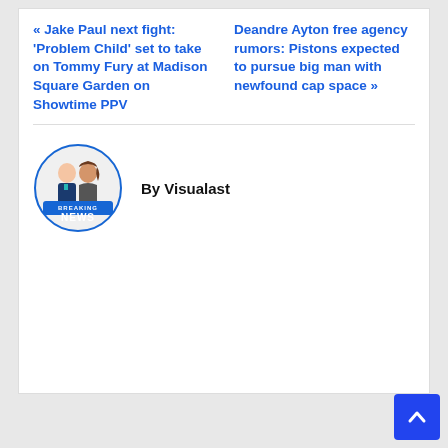« Jake Paul next fight: 'Problem Child' set to take on Tommy Fury at Madison Square Garden on Showtime PPV
Deandre Ayton free agency rumors: Pistons expected to pursue big man with newfound cap space »
[Figure (logo): Breaking News logo with two news anchor figures behind a desk with BREAKING NEWS banner]
By Visualast